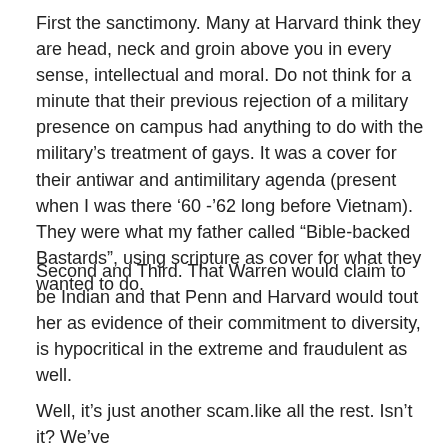First the sanctimony. Many at Harvard think they are head, neck and groin above you in every sense, intellectual and moral. Do not think for a minute that their previous rejection of a military presence on campus had anything to do with the military's treatment of gays. It was a cover for their antiwar and antimilitary agenda (present when I was there '60 -'62 long before Vietnam). They were what my father called “Bible-backed Bastards”, using scripture as cover for what they wanted to do.
Second and Third. That Warren would claim to be Indian and that Penn and Harvard would tout her as evidence of their commitment to diversity, is hypocritical in the extreme and fraudulent as well.
Well, it’s just another scam.like all the rest. Isn’t it? We’ve